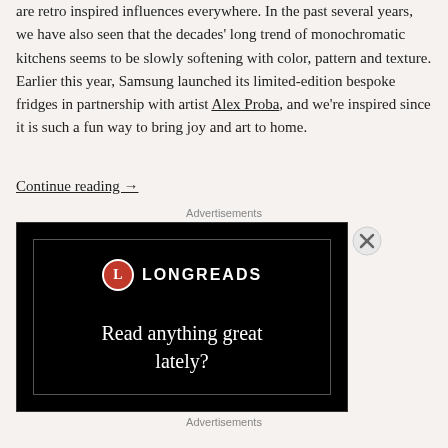are retro inspired influences everywhere. In the past several years, we have also seen that the decades' long trend of monochromatic kitchens seems to be slowly softening with color, pattern and texture. Earlier this year, Samsung launched its limited-edition bespoke fridges in partnership with artist Alex Proba, and we're inspired since it is such a fun way to bring joy and art to home.
Continue reading →
Advertisements
[Figure (other): Longreads advertisement. Black background with red circle logo containing letter L, brand name LONGREADS in white caps, and text 'Read anything great lately?']
Advertisements